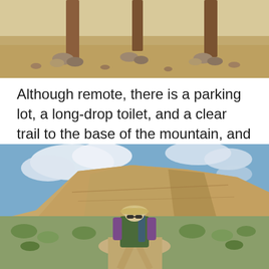[Figure (photo): Top portion of a photo showing wooden posts/sign structure with rocks at the base in a dry desert landscape.]
Although remote, there is a parking lot, a long-drop toilet, and a clear trail to the base of the mountain, and a clear trail – straight up.
[Figure (photo): A hiker wearing a hat, sunglasses, green vest and purple long-sleeve shirt stands on a desert trail with scrubby vegetation. Behind them is a large rocky sandstone butte under a partly cloudy blue sky.]